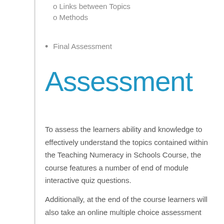o Links between Topics
o Methods
• Final Assessment
Assessment
To assess the learners ability and knowledge to effectively understand the topics contained within the Teaching Numeracy in Schools Course, the course features a number of end of module interactive quiz questions.
Additionally, at the end of the course learners will also take an online multiple choice assessment